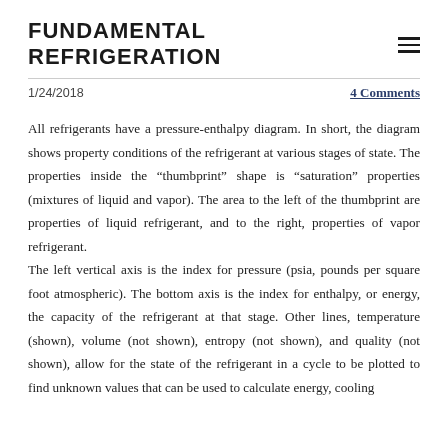FUNDAMENTAL REFRIGERATION
1/24/2018
4 Comments
All refrigerants have a pressure-enthalpy diagram. In short, the diagram shows property conditions of the refrigerant at various stages of state. The properties inside the “thumbprint” shape is “saturation” properties (mixtures of liquid and vapor). The area to the left of the thumbprint are properties of liquid refrigerant, and to the right, properties of vapor refrigerant. The left vertical axis is the index for pressure (psia, pounds per square foot atmospheric). The bottom axis is the index for enthalpy, or energy, the capacity of the refrigerant at that stage. Other lines, temperature (shown), volume (not shown), entropy (not shown), and quality (not shown), allow for the state of the refrigerant in a cycle to be plotted to find unknown values that can be used to calculate energy, cooling